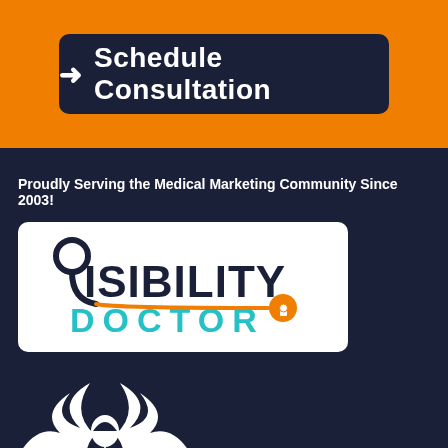[Figure (infographic): Orange background section with a dark navy rounded rectangle button containing a white right-arrow icon and text 'Schedule Consultation']
Proudly Serving the Medical Marketing Community Since 2003!
[Figure (logo): Visibility Doctor logo: stethoscope forming the 'V' in VISIBILITY, with orange connector line leading to DOCTOR text in teal, and an orange key/lock icon at the end]
[Figure (logo): Partial white eagle/hermes winged figure logo at the bottom of the dark navy section]